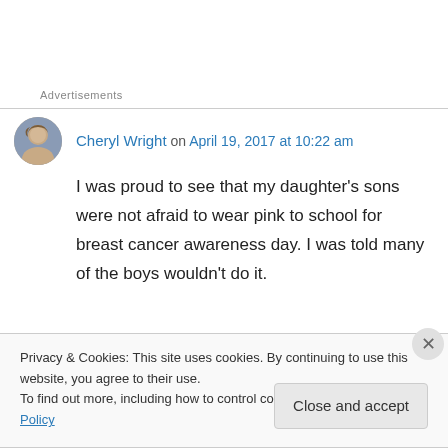Advertisements
Cheryl Wright on April 19, 2017 at 10:22 am
I was proud to see that my daughter’s sons were not afraid to wear pink to school for breast cancer awareness day. I was told many of the boys wouldn’t do it.
Privacy & Cookies: This site uses cookies. By continuing to use this website, you agree to their use.
To find out more, including how to control cookies, see here: Cookie Policy
Close and accept